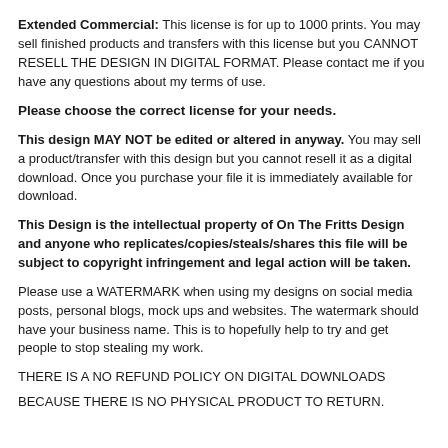Extended Commercial: This license is for up to 1000 prints. You may sell finished products and transfers with this license but you CANNOT RESELL THE DESIGN IN DIGITAL FORMAT. Please contact me if you have any questions about my terms of use.
Please choose the correct license for your needs.
This design MAY NOT be edited or altered in anyway. You may sell a product/transfer with this design but you cannot resell it as a digital download. Once you purchase your file it is immediately available for download.
This Design is the intellectual property of On The Fritts Design and anyone who replicates/copies/steals/shares this file will be subject to copyright infringement and legal action will be taken.
Please use a WATERMARK when using my designs on social media posts, personal blogs, mock ups and websites. The watermark should have your business name. This is to hopefully help to try and get people to stop stealing my work.
THERE IS A NO REFUND POLICY ON DIGITAL DOWNLOADS
BECAUSE THERE IS NO PHYSICAL PRODUCT TO RETURN.